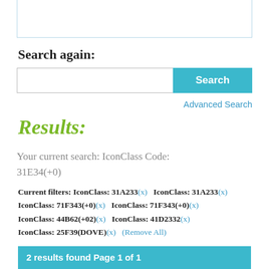[Figure (screenshot): Top portion of a search interface box with light blue border]
Search again:
[Figure (screenshot): Search input box with blue Search button on the right]
Advanced Search
Results:
Your current search: IconClass Code: 31E34(+0)
Current filters: IconClass: 31A233(x)   IconClass: 31A233(x) IconClass: 71F343(+0)(x)   IconClass: 71F343(+0)(x) IconClass: 44B62(+02)(x)   IconClass: 41D2332(x) IconClass: 25F39(DOVE)(x)   (Remove All)
2 results found Page 1 of 1